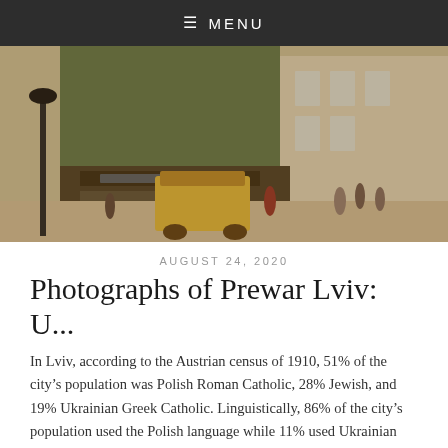≡ MENU
[Figure (photo): Old colorized photograph of a prewar street scene in Lviv, showing multi-story European buildings with storefronts, a tram or horse cart, and pedestrians on the sidewalk]
AUGUST 24, 2020
Photographs of Prewar Lviv: U...
In Lviv, according to the Austrian census of 1910, 51% of the city's population was Polish Roman Catholic, 28% Jewish, and 19% Ukrainian Greek Catholic. Linguistically, 86% of the city's population used the Polish language while 11% used Ukrainian (Lviv). Looking at these statistics, it's no surprise